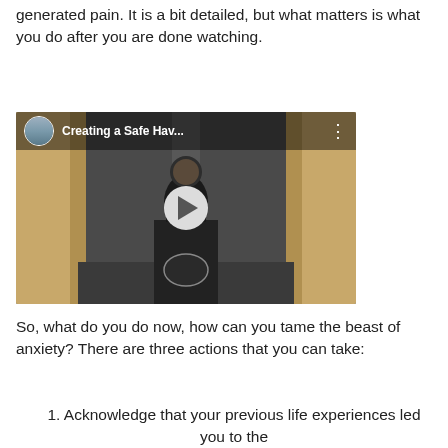generated pain. It is a bit detailed, but what matters is what you do after you are done watching.
[Figure (screenshot): Embedded video thumbnail showing a speaker at a podium in a lecture hall. Video title reads 'Creating a Safe Hav...' with a play button overlay and a small avatar in the top-left corner.]
So, what do you do now, how can you tame the beast of anxiety? There are three actions that you can take:
1. Acknowledge that your previous life experiences led you to the